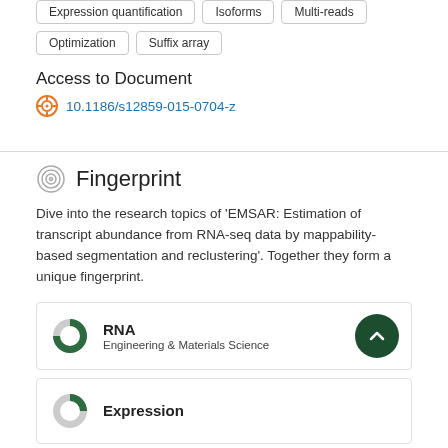Expression quantification
Isoforms
Multi-reads
Optimization
Suffix array
Access to Document
10.1186/s12859-015-0704-z
Fingerprint
Dive into the research topics of 'EMSAR: Estimation of transcript abundance from RNA-seq data by mappability-based segmentation and reclustering'. Together they form a unique fingerprint.
RNA
Engineering & Materials Science
Expression